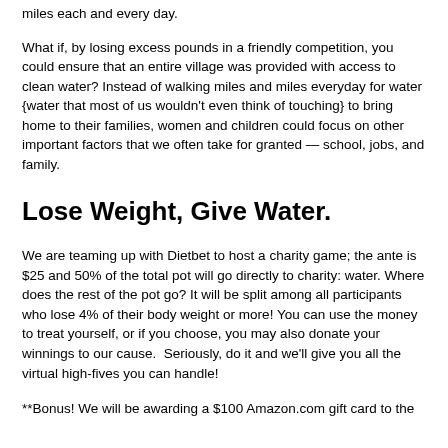miles each and every day.
What if, by losing excess pounds in a friendly competition, you could ensure that an entire village was provided with access to clean water? Instead of walking miles and miles everyday for water {water that most of us wouldn't even think of touching} to bring home to their families, women and children could focus on other important factors that we often take for granted — school, jobs, and family.
Lose Weight, Give Water.
We are teaming up with Dietbet to host a charity game; the ante is $25 and 50% of the total pot will go directly to charity: water. Where does the rest of the pot go? It will be split among all participants who lose 4% of their body weight or more! You can use the money to treat yourself, or if you choose, you may also donate your winnings to our cause.  Seriously, do it and we'll give you all the virtual high-fives you can handle!
**Bonus! We will be awarding a $100 Amazon.com gift card to the